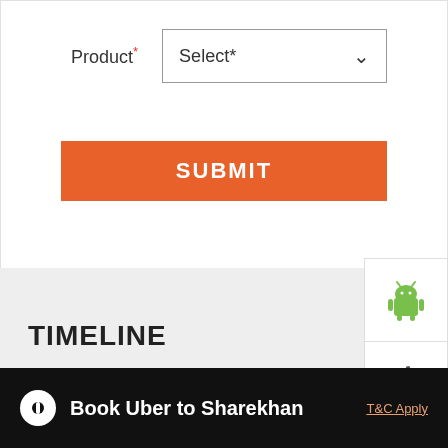Product* Select*
SUBMIT
[Figure (screenshot): Android app icon (robot/android logo in green)]
[Figure (screenshot): Apple/iOS app icon (apple logo)]
TIMELINE
< Back to Timeline
Cookie Information
On our website, we use services (including from third-party providers) that help us to improve our online presence (optimization of website) and to display content that is geared to their interests. We need your consent before being able to use these services.
Stock Market opportunities rarely knock twice. Don't miss out due to inaction. Check out our SH Research ACTIONABLE UPDATES; how to audio avatar.
Today, we cover: NTPC  Carborundum Universal #Sharekhan
Book Uber to Sharekhan
T&C Apply